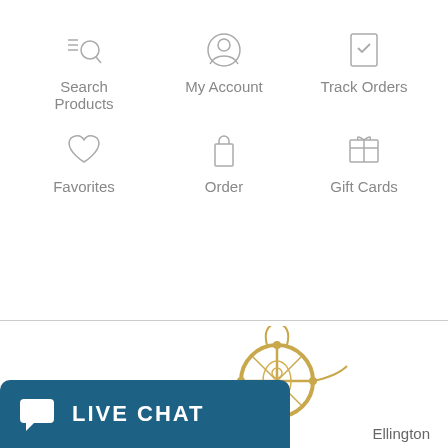[Figure (infographic): Navigation menu with 6 icons in a 2-row 3-column grid: Search Products, My Account, Track Orders, Favorites, Order, Gift Cards]
[Figure (photo): Gold circular nautical/compass charm pendant jewelry piece on white background]
Ellington
[Figure (infographic): Live Chat button in dark teal/blue with chat bubble icon and text LIVE CHAT]